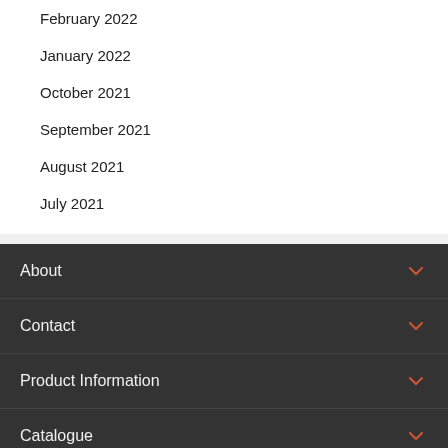February 2022
January 2022
October 2021
September 2021
August 2021
July 2021
About
Contact
Product Information
Catalogue
Careers